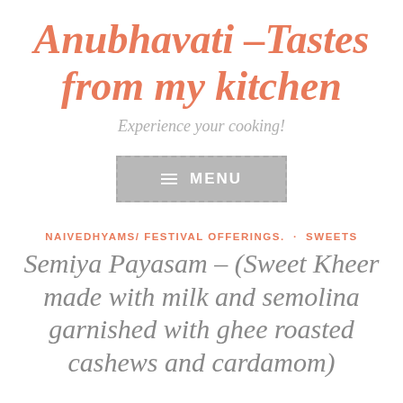Anubhavati –Tastes from my kitchen
Experience your cooking!
[Figure (other): Menu button with dashed border and hamburger icon, grey background, white text reading MENU]
NAIVEDHYAMS/ FESTIVAL OFFERINGS.  ·  SWEETS
Semiya Payasam – (Sweet Kheer made with milk and semolina garnished with ghee roasted cashews and cardamom)